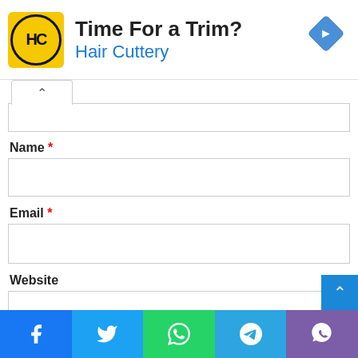[Figure (infographic): Hair Cuttery advertisement banner with yellow logo showing HC in a circle, text 'Time For a Trim?' and 'Hair Cuttery' in blue, and a blue navigation diamond icon on the right. Play and X controls on the left side.]
Name *
Email *
Website
Save my name, email, and website in this browser for the nex
[Figure (infographic): Social sharing bar with Facebook (blue), Twitter (light blue), WhatsApp (green), Telegram (blue), and Viber (purple) buttons along the bottom.]